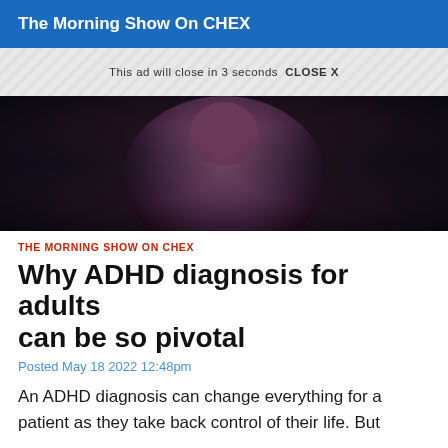The Morning Show On CHEX
This ad will close in 3 seconds  CLOSE X
[Figure (photo): Dark video thumbnail showing a person in a grey/mauve sweater against a dark background]
THE MORNING SHOW ON CHEX
Why ADHD diagnosis for adults can be so pivotal
Posted May 18 2022 12:48pm
An ADHD diagnosis can change everything for a patient as they take back control of their life. But